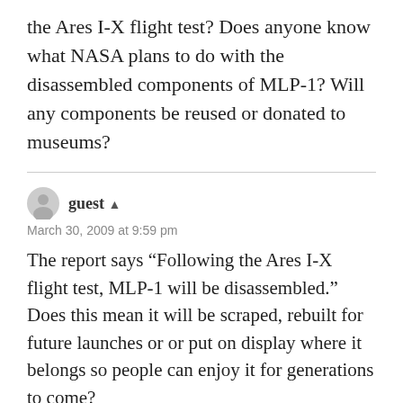the Ares I-X flight test? Does anyone know what NASA plans to do with the disassembled components of MLP-1? Will any components be reused or donated to museums?
guest
March 30, 2009 at 9:59 pm
The report says “Following the Ares I-X flight test, MLP-1 will be disassembled.” Does this mean it will be scraped, rebuilt for future launches or or put on display where it belongs so people can enjoy it for generations to come?
Thank You